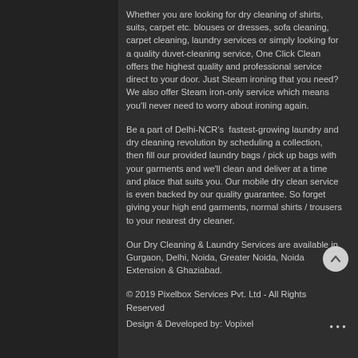Whether you are looking for dry cleaning of shirts, suits, carpet etc. blouses or dresses, sofa cleaning, carpet cleaning, laundry services or simply looking for a quality duvet-cleaning service, One Click Clean offers the highest quality and professional service direct to your door. Just Steam ironing that you need? We also offer Steam iron-only service which means you'll never need to worry about ironing again.
Be a part of Delhi-NCR's  fastest-growing laundry and dry cleaning revolution by scheduling a collection, then fill our provided laundry bags / pick up bags with your garments and we'll clean and deliver at a time and place that suits you. Our mobile dry clean service is even backed by our quality guarantee. So forget giving your high end garments, normal shirts / trousers to your nearest dry cleaner.
Our Dry Cleaning & Laundry Services are available in Gurgaon, Delhi, Noida, Greater Noida, Noida Extension & Ghaziabad.
© 2019 Pixelbox Services Pvt. Ltd - All Rights Reserved
Design & Developed by: Vopixel